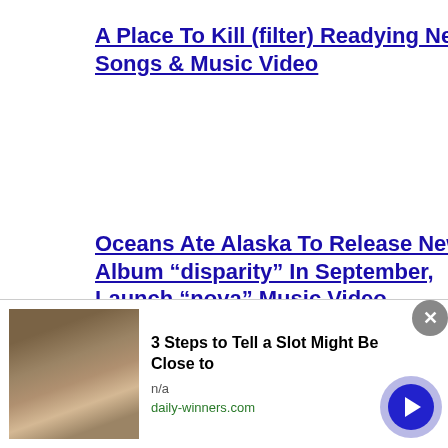A Place To Kill (filter) Readying New Songs & Music Video
Oceans Ate Alaska To Release New Album “disparity” In September, Launch “nova” Music Video
Venom Inc. Release New Single “come To Me”
Tommy Vext Recruits
[Figure (screenshot): Advertisement banner: '3 Steps to Tell a Slot Might Be Close to' from daily-winners.com with photo of person and play button]